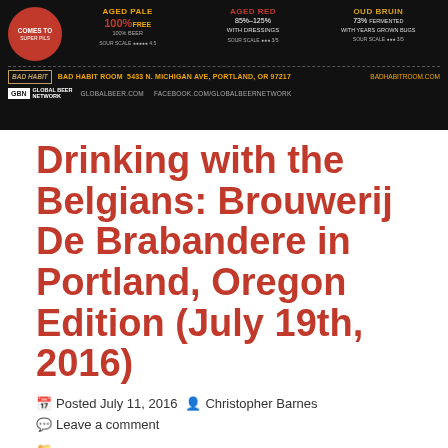[Figure (photo): Bad Habit Room banner advertisement for Brouwerij De Brabandere beers including Aged Pale, Aged Red, and Oud Bruin. Shows beer information with percentages, Bad Habit Room address at 5433 N. Michigan Ave, Portland, OR 97217, badhabitroom.com, and Global Beer Network logos with globalbeer.com and facebook.com/globalbeernetwork.]
Drinking with the Belgians: Brouwerij De Brabandere in Portland, Oregon Edition (July 19th, 2016)
Posted July 11, 2016   Christopher Barnes   Leave a comment
Posted in Beer News, Belgian Family Brewers, Belgium, Mixed Fermentation